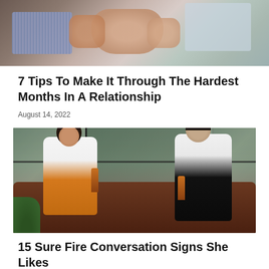[Figure (photo): Two people holding hands across a table — a man in a striped shirt on the left and a woman in a light blue sleeveless top on the right]
7 Tips To Make It Through The Hardest Months In A Relationship
August 14, 2022
[Figure (photo): A man and woman sitting on a brown leather couch in front of green walls and large windows, both holding beer bottles and talking and laughing]
15 Sure Fire Conversation Signs She Likes